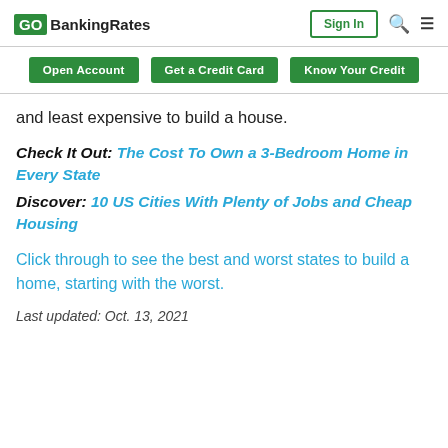GOBankingRates | Sign In
Open Account | Get a Credit Card | Know Your Credit
and least expensive to build a house.
Check It Out: The Cost To Own a 3-Bedroom Home in Every State
Discover: 10 US Cities With Plenty of Jobs and Cheap Housing
Click through to see the best and worst states to build a home, starting with the worst.
Last updated: Oct. 13, 2021